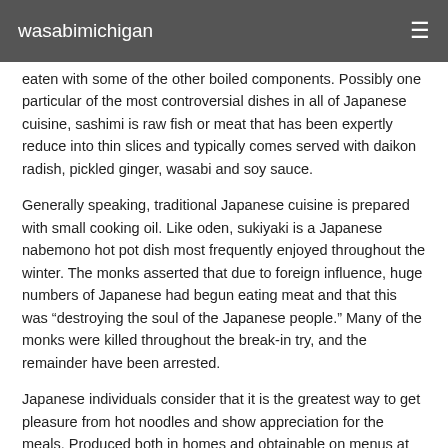wasabimichigan
eaten with some of the other boiled components. Possibly one particular of the most controversial dishes in all of Japanese cuisine, sashimi is raw fish or meat that has been expertly reduce into thin slices and typically comes served with daikon radish, pickled ginger, wasabi and soy sauce.
Generally speaking, traditional Japanese cuisine is prepared with small cooking oil. Like oden, sukiyaki is a Japanese nabemono hot pot dish most frequently enjoyed throughout the winter. The monks asserted that due to foreign influence, huge numbers of Japanese had begun eating meat and that this was “destroying the soul of the Japanese people.” Many of the monks were killed throughout the break-in try, and the remainder have been arrested.
Japanese individuals consider that it is the greatest way to get pleasure from hot noodles and show appreciation for the meals. Produced both in homes and obtainable on menus at restaurants, it is a dish you will want to attempt when you are craving one thing hearty. In some restaurants, the knowledge is more